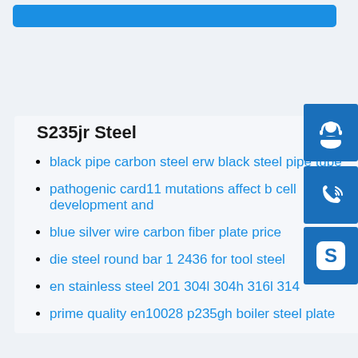[Figure (other): Blue banner at top of page]
S235jr Steel
black pipe carbon steel erw black steel pipe tube
pathogenic card11 mutations affect b cell development and
blue silver wire carbon fiber plate price
die steel round bar 1 2436 for tool steel
en stainless steel 201 304l 304h 316l 314
prime quality en10028 p235gh boiler steel plate
[Figure (illustration): Blue customer support headset icon button]
[Figure (illustration): Blue phone/call icon button]
[Figure (illustration): Blue Skype icon button]